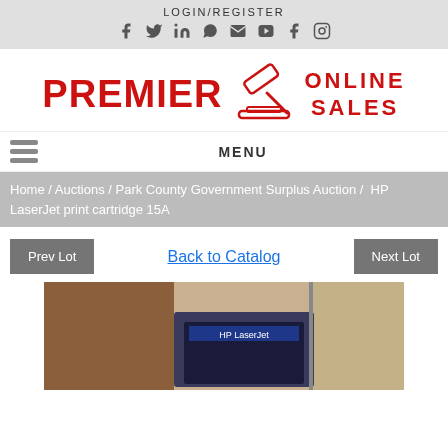LOGIN/REGISTER
[Figure (screenshot): Social media icons: Facebook, Twitter, LinkedIn, WhatsApp, Email, YouTube, Facebook, Instagram]
[Figure (logo): Premier Online Sales logo with red text and gavel icon]
MENU
Home / Auctions / Park County Government Surplus Auction / HP LaserJet print cartridge 15A
Prev Lot   Back to Catalog   Next Lot
[Figure (photo): Photo of HP LaserJet print cartridge 15A]